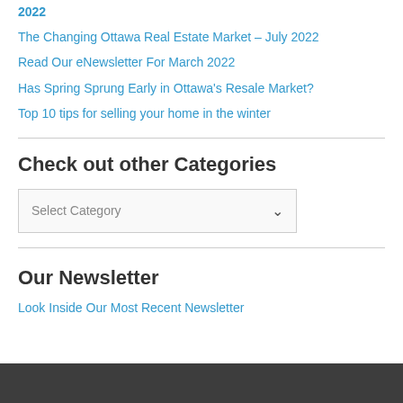2022
The Changing Ottawa Real Estate Market – July 2022
Read Our eNewsletter For March 2022
Has Spring Sprung Early in Ottawa's Resale Market?
Top 10 tips for selling your home in the winter
Check out other Categories
Select Category
Our Newsletter
Look Inside Our Most Recent Newsletter